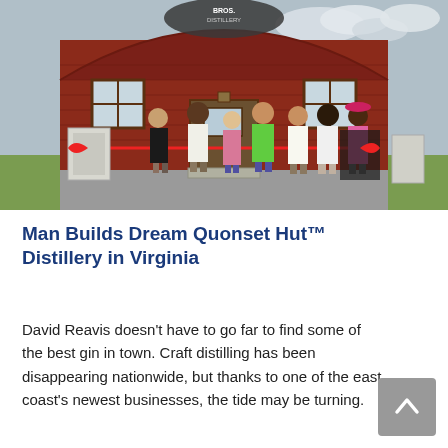[Figure (photo): Ribbon-cutting ceremony in front of a red Quonset hut distillery building with arched roof. A sign reading 'Bros. Distillery' is visible at the top. Seven people stand in front holding a red ribbon, with gravel driveway and green grass surrounding the building.]
Man Builds Dream Quonset Hut™ Distillery in Virginia
David Reavis doesn't have to go far to find some of the best gin in town. Craft distilling has been disappearing nationwide, but thanks to one of the east coast's newest businesses, the tide may be turning.